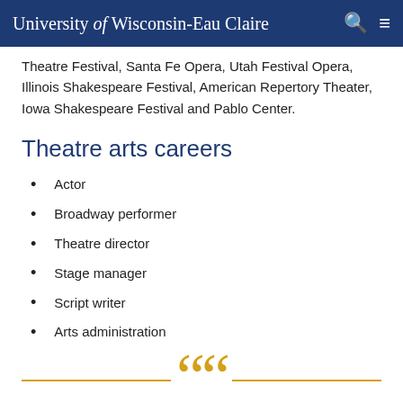University of Wisconsin-Eau Claire
Theatre Festival, Santa Fe Opera, Utah Festival Opera, Illinois Shakespeare Festival, American Repertory Theater, Iowa Shakespeare Festival and Pablo Center.
Theatre arts careers
Actor
Broadway performer
Theatre director
Stage manager
Script writer
Arts administration
In the theatre department at UW-Eau Claire, I was able to learn my craft with the guidance of talented, caring